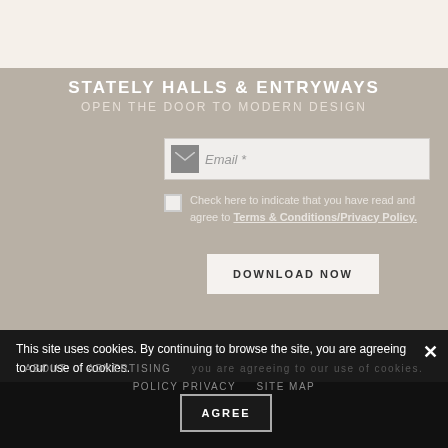STATELY HALLS & ENTRYWAYS
OPEN THE DOOR TO MODERN DESIGN
[Figure (other): Email input field with envelope icon and placeholder text 'Email *']
Check here to indicate that you have read and agree to Terms & Conditions/Privacy Policy.
DOWNLOAD NOW
This site uses cookies. By continuing to browse the site, you are agreeing to our use of cookies.
ABOUT   ADVERTISING   POLICY PRIVACY   SITE MAP
AGREE